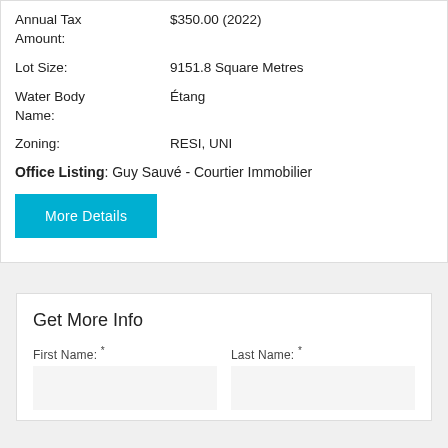Annual Tax Amount: $350.00 (2022)
Lot Size: 9151.8 Square Metres
Water Body Name: Étang
Zoning: RESI, UNI
Office Listing: Guy Sauvé - Courtier Immobilier
More Details
Get More Info
First Name: *
Last Name: *